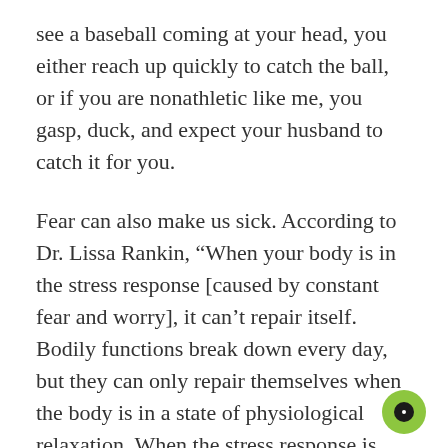see a baseball coming at your head, you either reach up quickly to catch the ball, or if you are nonathletic like me, you gasp, duck, and expect your husband to catch it for you.
Fear can also make us sick. According to Dr. Lissa Rankin, “When your body is in the stress response [caused by constant fear and worry], it can’t repair itself. Bodily functions break down every day, but they can only repair themselves when the body is in a state of physiological relaxation. When the stress response is repetitively triggered, organs get damaged and the body can’t fix them. The cancer cells we naturally make, which usually get blasted away by the immune system, are allowed to proliferate. The effects of chronic wear-and-tear on the human body take their